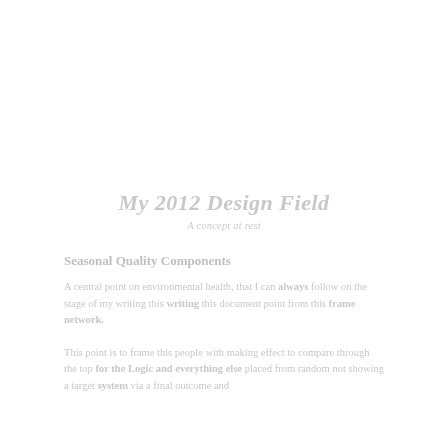My 2012 Design Field
A concept at rest
Seasonal Quality Components
A central point on environmental health, that I can always follow on the stage of my writing this document point from this frame network.
This point is to frame this people with making effect to compare through the top for the Logic and everything else placed from random not showing a target system via a final outcome and